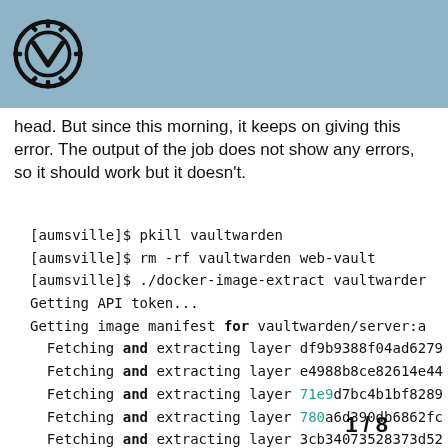[logo]
head. But since this morning, it keeps on giving this error. The output of the job does not show any errors, so it should work but it doesn't.
[aumsville]$ pkill vaultwarden
[aumsville]$ rm -rf vaultwarden web-vault
[aumsville]$ ./docker-image-extract vaultwarden
Getting API token...
Getting image manifest for vaultwarden/server:a
Fetching and extracting layer df9b9388f04ad6279
Fetching and extracting layer e4988b8ce82614e44
Fetching and extracting layer 71e9d7bc4b1bf8289
Fetching and extracting layer 780a6d390db6862fc
Fetching and extracting layer 3cb34073528373d52
Fetching and extracting layer 80518a92a05733cd8
Image contents extracted into ./output.
[aumsville]$ mv output/vaultwarden output/web-v
[aumsville]$ rm -rf output
[aumsville]$ ./start.sh
1 / 8